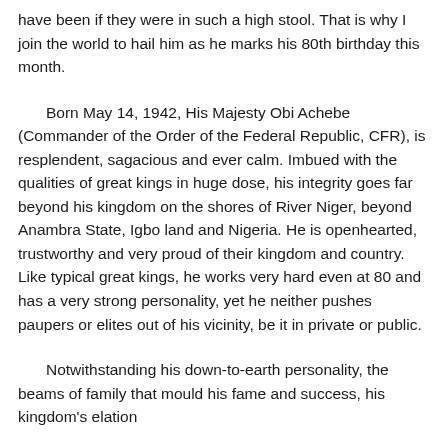have been if they were in such a high stool. That is why I join the world to hail him as he marks his 80th birthday this month.
Born May 14, 1942, His Majesty Obi Achebe (Commander of the Order of the Federal Republic, CFR), is resplendent, sagacious and ever calm. Imbued with the qualities of great kings in huge dose, his integrity goes far beyond his kingdom on the shores of River Niger, beyond Anambra State, Igbo land and Nigeria. He is openhearted, trustworthy and very proud of their kingdom and country. Like typical great kings, he works very hard even at 80 and has a very strong personality, yet he neither pushes paupers or elites out of his vicinity, be it in private or public.
Notwithstanding his down-to-earth personality, the beams ofamily that mould his fame and success, his kingdom's elation